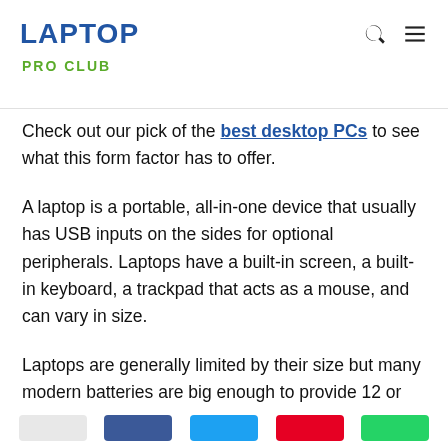LAPTOP PRO CLUB
Check out our pick of the best desktop PCs to see what this form factor has to offer.
A laptop is a portable, all-in-one device that usually has USB inputs on the sides for optional peripherals. Laptops have a built-in screen, a built-in keyboard, a trackpad that acts as a mouse, and can vary in size.
Laptops are generally limited by their size but many modern batteries are big enough to provide 12 or more hours of power before needing to recharge.
We've collected together the best laptops as well.